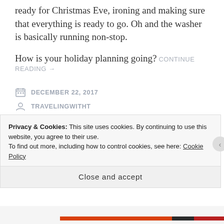ready for Christmas Eve, ironing and making sure that everything is ready to go. Oh and the washer is basically running non-stop.
How is your holiday planning going? CONTINUE READING →
DECEMBER 22, 2017
TRAVELINGWITHT
#GIVEAWAY, #LITERARYFRIDAY, #TRAVELINGWITHT
2 COMMENTS
Privacy & Cookies: This site uses cookies. By continuing to use this website, you agree to their use.
To find out more, including how to control cookies, see here: Cookie Policy
Close and accept